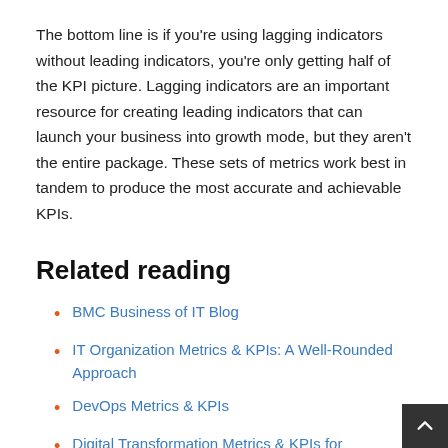The bottom line is if you're using lagging indicators without leading indicators, you're only getting half of the KPI picture. Lagging indicators are an important resource for creating leading indicators that can launch your business into growth mode, but they aren't the entire package. These sets of metrics work best in tandem to produce the most accurate and achievable KPIs.
Related reading
BMC Business of IT Blog
IT Organization Metrics & KPIs: A Well-Rounded Approach
DevOps Metrics & KPIs
Digital Transformation Metrics & KPIs for Measuring Success